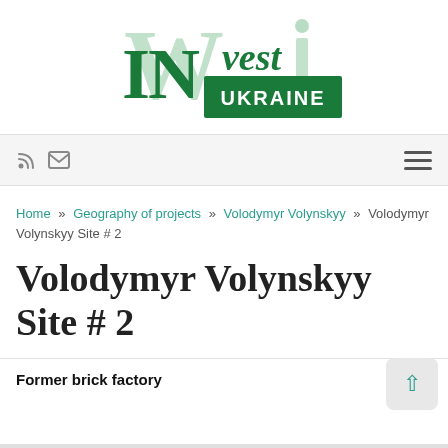[Figure (logo): Invest in Ukraine logo — large decorative green W+i letters with 'vest' text, and 'IN UKRAINE' on a green rectangle banner]
RSS icon | Email icon | Hamburger menu
Home » Geography of projects » Volodymyr Volynskyy » Volodymyr Volynskyy Site # 2
Volodymyr Volynskyy Site # 2
Former brick factory